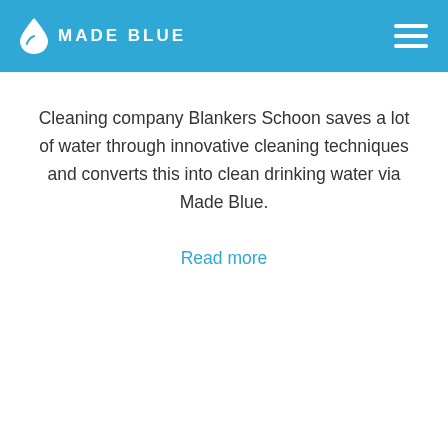MADE BLUE
Cleaning company Blankers Schoon saves a lot of water through innovative cleaning techniques and converts this into clean drinking water via Made Blue.
Read more